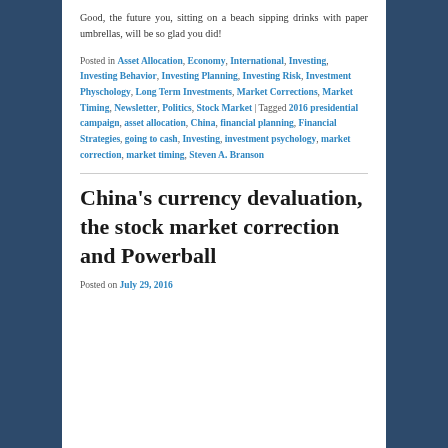Good, the future you, sitting on a beach sipping drinks with paper umbrellas, will be so glad you did!
Posted in Asset Allocation, Economy, International, Investing, Investing Behavior, Investing Planning, Investing Risk, Investment Physchology, Long Term Investments, Market Corrections, Market Timing, Newsletter, Politics, Stock Market | Tagged 2016 presidential campaign, asset allocation, China, financial planning, Financial Strategies, going to cash, Investing, investment psychology, market correction, market timing, Steven A. Branson
China's currency devaluation, the stock market correction and Powerball
Posted on July 29, 2016